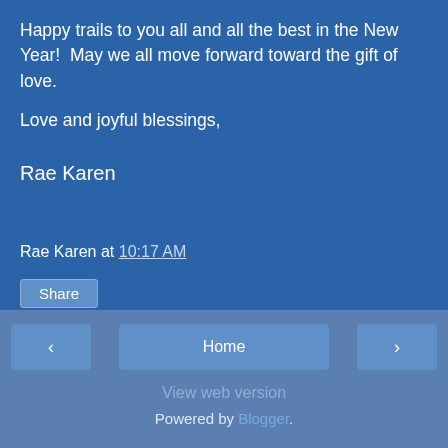Happy trails to you all and all the best in the New Year!  May we all move forward toward the gift of love.
Love and joyful blessings,
Rae Karen
Rae Karen at 10:17 AM
Share
‹
Home
›
View web version
Powered by Blogger.